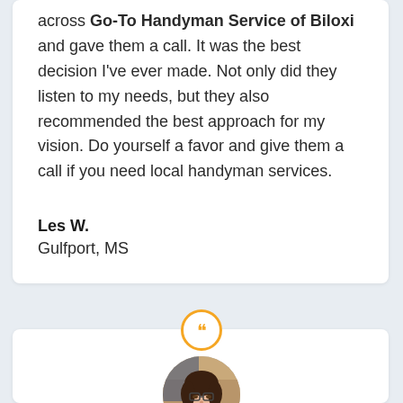across Go-To Handyman Service of Biloxi and gave them a call. It was the best decision I've ever made. Not only did they listen to my needs, but they also recommended the best approach for my vision. Do yourself a favor and give them a call if you need local handyman services.
Les W.
Gulfport, MS
[Figure (other): Orange circle with double quotation mark icon, used as a decorative separator between review cards]
[Figure (photo): Circular cropped photo of a woman with glasses and dark hair wearing a red top, shown from shoulders up against a blurred background]